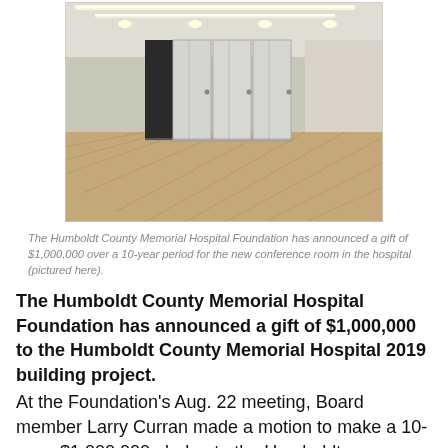[Figure (photo): Interior photo of a modern empty conference room with fold-out partition walls, LED strip lighting on the ceiling, and herringbone wood flooring.]
The Humboldt County Memorial Hospital Foundation has announced a gift of $1,000,000 over a 10-year period for the new conference room in the hospital (pictured here).
The Humboldt County Memorial Hospital Foundation has announced a gift of $1,000,000 to the Humboldt County Memorial Hospital 2019 building project. At the Foundation's Aug. 22 meeting, Board member Larry Curran made a motion to make a 10-year, $1,000,000 pledge to the Humboldt